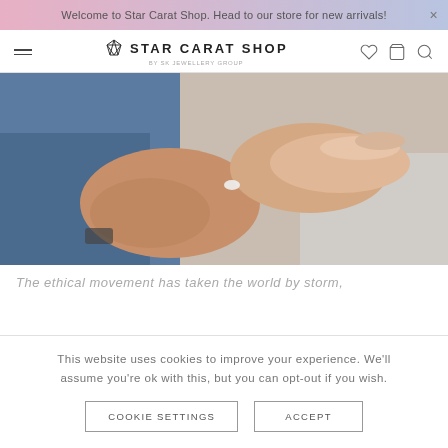Welcome to Star Carat Shop. Head to our store for new arrivals!
[Figure (logo): Star Carat Shop logo with gem icon and tagline 'By SK Jewellery Group']
[Figure (photo): Close-up photo of a man placing a diamond ring on a woman's finger outdoors]
The ethical movement has taken the world by storm,
This website uses cookies to improve your experience. We'll assume you're ok with this, but you can opt-out if you wish.
COOKIE SETTINGS    ACCEPT